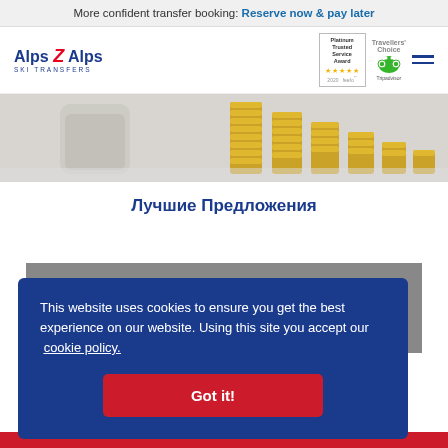More confident transfer booking: Reserve now & pay later
[Figure (logo): Alps2Alps Ski Transfers logo with awards badges (Feefo Platinum Trusted Service Award 2020, TripAdvisor Travellers Choice)]
[Figure (photo): Photo of stacked gold and silver coins in jars on a light background]
Лучшие Предложения
This website uses cookies to ensure you get the best experience on our website. Using this site you accept our cookie policy.
Got it!